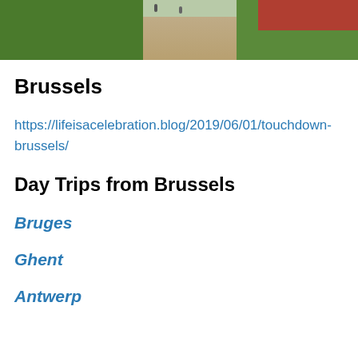[Figure (photo): Aerial or elevated view of a garden maze/hedge labyrinth with a sandy path running through the center, red flowers visible in the top right, and figures walking along the path]
Brussels
https://lifeisacelebration.blog/2019/06/01/touchdown-brussels/
Day Trips from Brussels
Bruges
Ghent
Antwerp